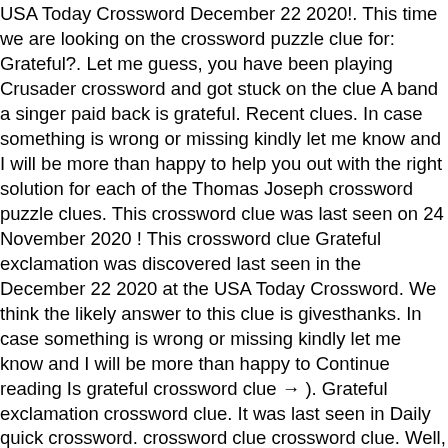USA Today Crossword December 22 2020!. This time we are looking on the crossword puzzle clue for: Grateful?. Let me guess, you have been playing Crusader crossword and got stuck on the clue A band a singer paid back is grateful. Recent clues. In case something is wrong or missing kindly let me know and I will be more than happy to help you out with the right solution for each of the Thomas Joseph crossword puzzle clues. This crossword clue was last seen on 24 November 2020 ! This crossword clue Grateful exclamation was discovered last seen in the December 22 2020 at the USA Today Crossword. We think the likely answer to this clue is givesthanks. In case something is wrong or missing kindly let me know and I will be more than happy to Continue reading Is grateful crossword clue → ). Grateful exclamation crossword clue. It was last seen in Daily quick crossword. crossword clue crossword clue. Well, you have come to the right place to find the answer to this clue. The Crossword Solver found 39 answers to the Grateful crossword clue. You can narrow down the possible answers by specifying the number of letters it contains. The NY Times Crossword Puzzle is a classic US puzzle game. crossword clue, Word after "sniff" or "taste" crossword clue, Anti-harassment movement hashtag crossword clue, Extensive in influence or range crossword clue, Performer with the 2012 hit